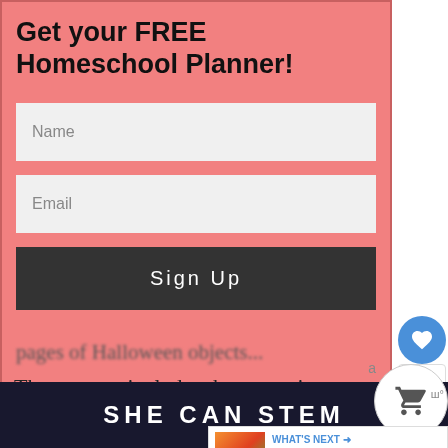Get your FREE Homeschool Planner!
[Figure (screenshot): Web form with Name and Email input fields and a Sign Up button on a pink background, with a close (X) button in the top-right corner]
pages of Halloween objects...
These pages include a bat, a cat in...
SHE CAN STEM